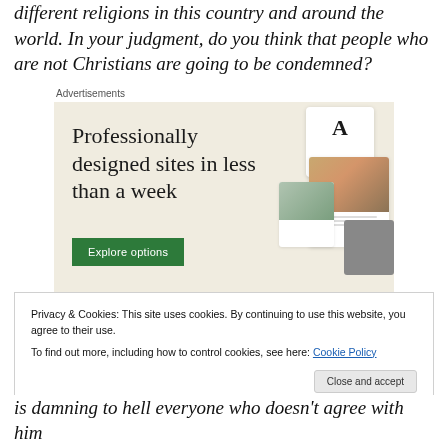different religions in this country and around the world. In your judgment, do you think that people who are not Christians are going to be condemned?
[Figure (screenshot): Advertisement banner with beige background showing text 'Professionally designed sites in less than a week' with a green 'Explore options' button and mockup website screenshots on the right. Labeled 'Advertisements' above.]
Privacy & Cookies: This site uses cookies. By continuing to use this website, you agree to their use.
To find out more, including how to control cookies, see here: Cookie Policy
is damning to hell everyone who doesn't agree with him